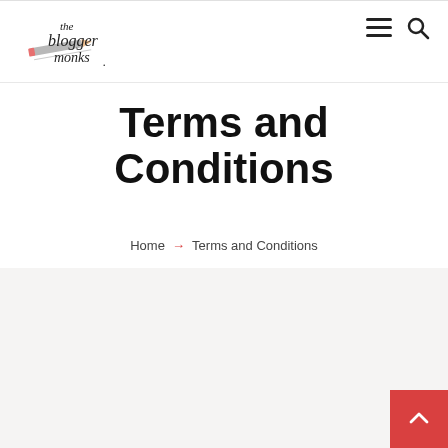[Figure (logo): The Blogger Monks logo — cursive handwritten text with a pencil/quill illustration]
[Figure (infographic): Hamburger menu icon (three horizontal lines) and search icon (magnifying glass) in the top right navigation]
Terms and Conditions
Home → Terms and Conditions